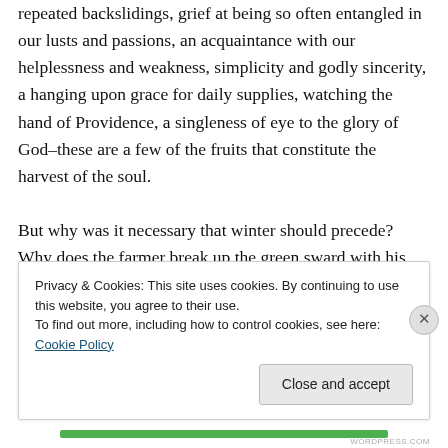repeated backslidings, grief at being so often entangled in our lusts and passions, an acquaintance with our helplessness and weakness, simplicity and godly sincerity, a hanging upon grace for daily supplies, watching the hand of Providence, a singleness of eye to the glory of God–these are a few of the fruits that constitute the harvest of the soul.
But why was it necessary that winter should precede? Why does the farmer break up the green sward with his plough, and turn in all the pretty daisies and marigolds, and lay bare the black soil, with all the hidden worms and
Privacy & Cookies: This site uses cookies. By continuing to use this website, you agree to their use.
To find out more, including how to control cookies, see here: Cookie Policy